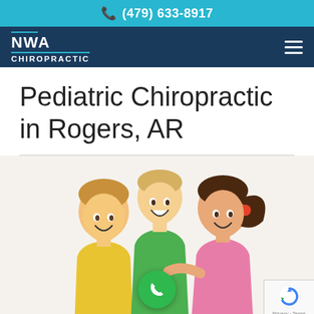(479) 633-8917
[Figure (logo): NWA Chiropractic logo in white text on dark navy background with teal underline]
Pediatric Chiropractic in Rogers, AR
[Figure (photo): Three smiling children — a boy in yellow shirt, a toddler in green shirt, and a girl in pink top with ponytail — posed together on white background. A green phone call button is overlaid in the center-bottom of the image. A reCAPTCHA badge appears in the bottom-right corner.]